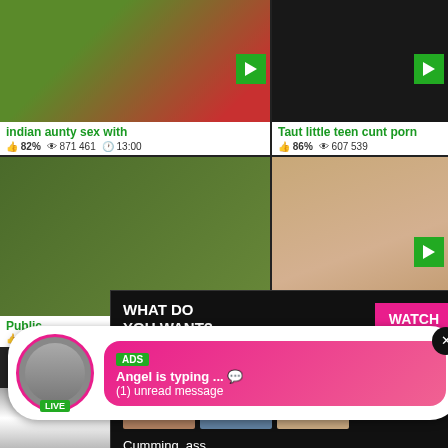[Figure (screenshot): Thumbnail of outdoor/flower scene, left top]
indian aunty sex with
82%  871 461  13:00
[Figure (screenshot): Dark video thumbnail, right top]
Taut little teen cunt porn
86%  607 539
[Figure (screenshot): Outdoor scene thumbnail mid left]
[Figure (screenshot): Skin/body thumbnail mid right]
Public
93%
[Figure (infographic): Popup ad: WHAT DO YOU WANT? WATCH button, Online indicator, three small thumbnails, text: Cumming, ass fucking, squirt or... • ADS X]
[Figure (infographic): Chat popup ad: ADS tag, Angel is typing ... 💬, (1) unread message, with avatar showing LIVE badge]
[Figure (screenshot): Bottom left thumbnail]
[Figure (screenshot): Bottom right dark thumbnail]